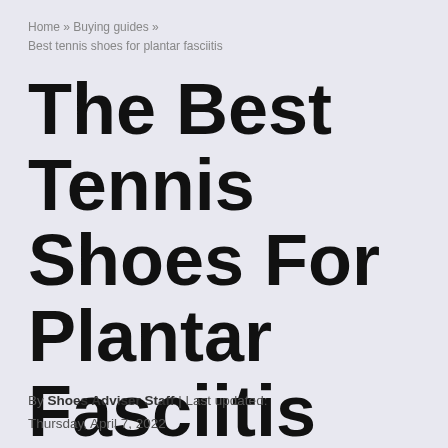Home » Buying guides » Best tennis shoes for plantar fasciitis
The Best Tennis Shoes For Plantar Fasciitis
By Shoes Adviser Staff | Last updated: Thursday, April 7, 2022